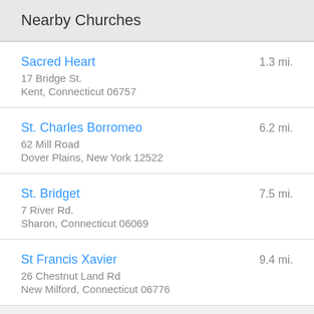Nearby Churches
Sacred Heart | 1.3 mi. | 17 Bridge St. | Kent, Connecticut 06757
St. Charles Borromeo | 6.2 mi. | 62 Mill Road | Dover Plains, New York 12522
St. Bridget | 7.5 mi. | 7 River Rd. | Sharon, Connecticut 06069
St Francis Xavier | 9.4 mi. | 26 Chestnut Land Rd | New Milford, Connecticut 06776